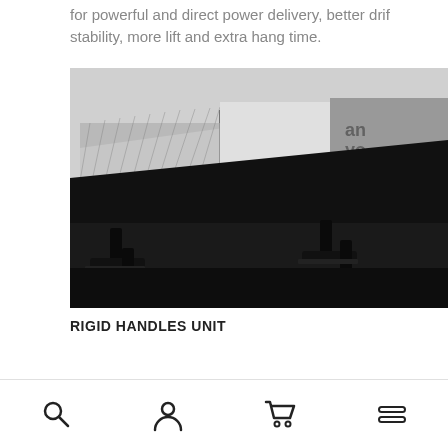for powerful and direct power delivery, better drift stability, more lift and extra hang time.
[Figure (photo): Close-up photo of a kite board/bar from below showing rigid handles unit structure with black frame, white and gray panels, and bar attachment points]
RIGID HANDLES UNIT
Search, Account, Cart, Menu navigation icons